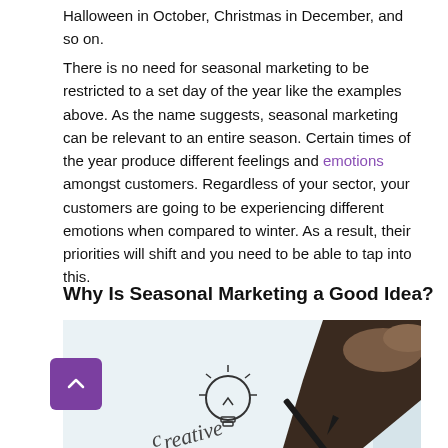Halloween in October, Christmas in December, and so on.
There is no need for seasonal marketing to be restricted to a set day of the year like the examples above. As the name suggests, seasonal marketing can be relevant to an entire season. Certain times of the year produce different feelings and emotions amongst customers. Regardless of your sector, your customers are going to be experiencing different emotions when compared to winter. As a result, their priorities will shift and you need to be able to tap into this.
Why Is Seasonal Marketing a Good Idea?
[Figure (photo): A hand holding a pen drawing a lightbulb on white paper, with the word 'creative' written in cursive below it. Close-up photo with a dark background at the top right.]